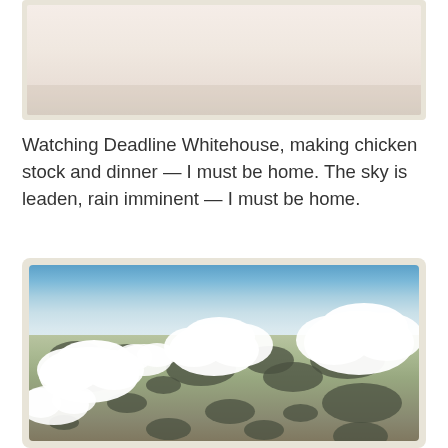[Figure (photo): Top portion of a polaroid-style photo showing a light beige/cream background, partially cropped at the top of the page]
Watching Deadline Whitehouse, making chicken stock and dinner — I must be home. The sky is leaden, rain imminent — I must be home.
[Figure (photo): Aerial photograph taken from an airplane showing clouds over agricultural landscape below, in a polaroid-style frame with rounded corners and cream border]